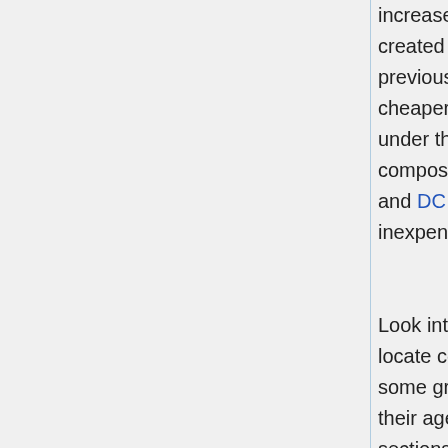increase your price range. Household furniture created from wood will be the priciest and previous the longest. Veneered wood will be cheaper, but will have lower good quality timber under the veneer. Particle board and composites, which are made of wooden pulp and DC MOVERS binders, will be the most inexpensive but the least resilient.
Look into the on-line classified web sites to locate cost-free furnishings. You might find some great free things. A lot people get rid of their aged recliners and furniture, when all those sections just need to be refinished or cleansed. Some elbow grease could offer you a wonderful item.